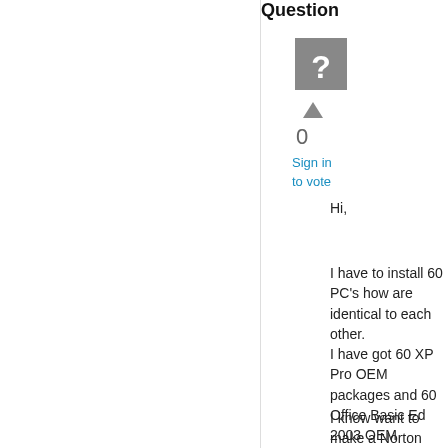Question
[Figure (illustration): Gray square icon with white question mark]
▲
0
Sign in
to vote
Hi,
I have to install 60 PC's how are identical to each other.
I have got 60 XP Pro OEM packages and 60 Office Basic Ed 2003 OEM packages.
I know want to make a Norton Ghost Image of one machine and the clone it to the others.